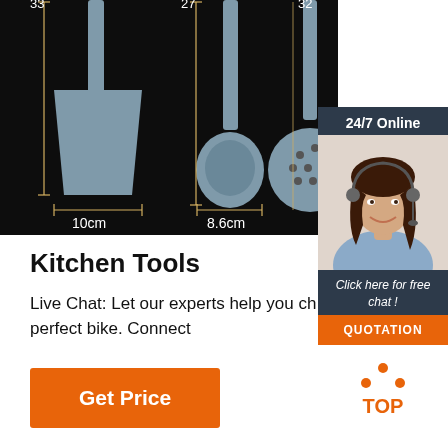[Figure (photo): Dark background product image showing three kitchen utensils (spatula, ladle, and skimmer/strainer) with measurement annotations: 33cm height, 27cm height, 32cm height, 10cm width for spatula head, 8.6cm width for ladle cup. A customer service chat widget is overlaid on the right side showing a woman with headset, '24/7 Online' header, 'Click here for free chat!' text, and 'QUOTATION' orange button.]
Kitchen Tools
Live Chat: Let our experts help you choose the perfect bike. Connect
[Figure (other): Orange 'Get Price' button]
[Figure (other): Orange TOP arrow logo/icon in bottom right]